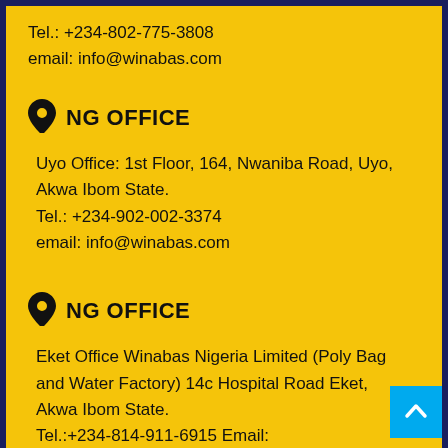Tel.: +234-802-775-3808
email: info@winabas.com
NG OFFICE
Uyo Office: 1st Floor, 164, Nwaniba Road, Uyo, Akwa Ibom State.
Tel.: +234-902-002-3374
email: info@winabas.com
NG OFFICE
Eket Office Winabas Nigeria Limited (Poly Bag and Water Factory) 14c Hospital Road Eket, Akwa Ibom State.
Tel.:+234-814-911-6915 Email:
info@winabas.com